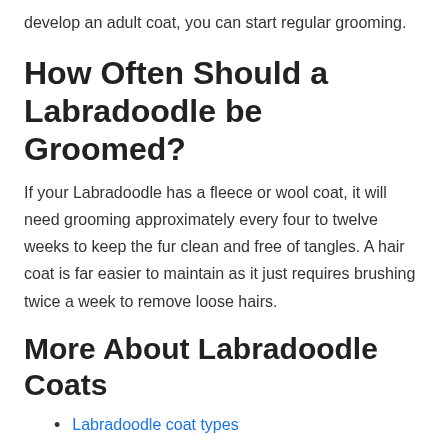develop an adult coat, you can start regular grooming.
How Often Should a Labradoodle be Groomed?
If your Labradoodle has a fleece or wool coat, it will need grooming approximately every four to twelve weeks to keep the fur clean and free of tangles. A hair coat is far easier to maintain as it just requires brushing twice a week to remove loose hairs.
More About Labradoodle Coats
Labradoodle coat types
Fleece coat Labradoodle
Flat coated Labradoodle
Wool coat Labradoodle